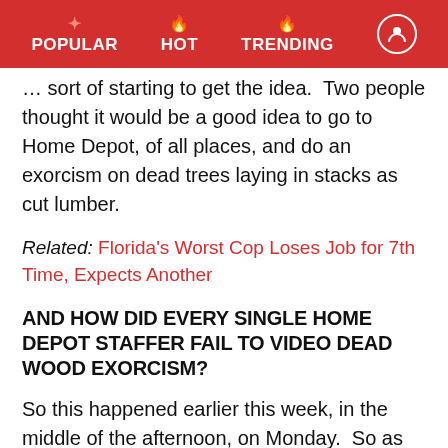POPULAR  HOT  TRENDING
… sort of starting to get the idea.  Two people thought it would be a good idea to go to Home Depot, of all places, and do an exorcism on dead trees laying in stacks as cut lumber.
Related: Florida's Worst Cop Loses Job for 7th Time, Expects Another
AND HOW DID EVERY SINGLE HOME DEPOT STAFFER FAIL TO VIDEO DEAD WOOD EXORCISM?
So this happened earlier this week, in the middle of the afternoon, on Monday.  So as you might guess, after the police report came out, some people noticed and commented on social media.  Unfortunately, none